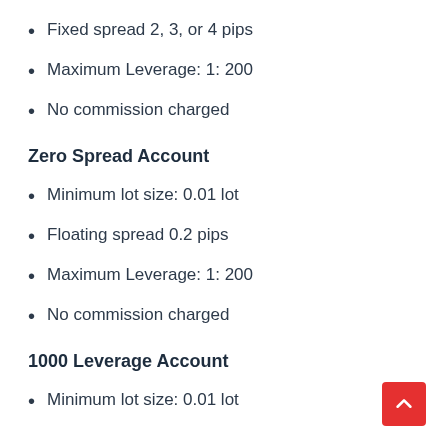Fixed spread 2, 3, or 4 pips
Maximum Leverage: 1: 200
No commission charged
Zero Spread Account
Minimum lot size: 0.01 lot
Floating spread 0.2 pips
Maximum Leverage: 1: 200
No commission charged
1000 Leverage Account
Minimum lot size: 0.01 lot